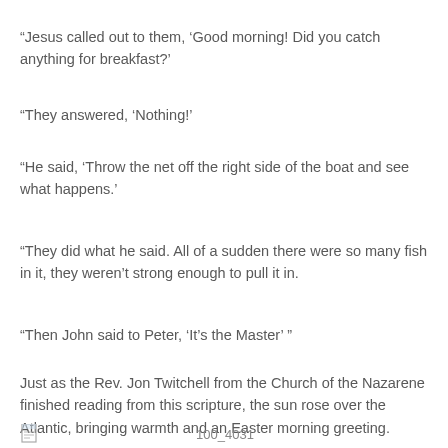“Jesus called out to them, ‘Good morning! Did you catch anything for breakfast?’
“They answered, ‘Nothing!’
“He said, ‘Throw the net off the right side of the boat and see what happens.’
“They did what he said. All of a sudden there were so many fish in it, they weren’t strong enough to pull it in.
“Then John said to Peter, ‘It’s the Master’ ”
Just as the Rev. Jon Twitchell from the Church of the Nazarene finished reading from this scripture, the sun rose over the Atlantic, bringing warmth and an Easter morning greeting.
100_4031